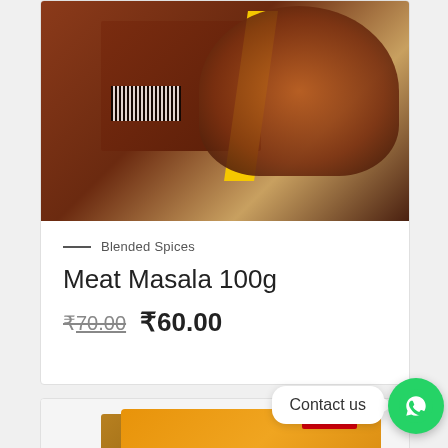[Figure (photo): Product photo of Meat Masala 100g box with brown packaging, yellow stripe, barcode, and food image]
— Blended Spices
Meat Masala 100g
₹70.00  ₹60.00
[Figure (photo): Product photo of Pansari brand spice box with orange packaging, gold side panel, red starburst logo, and PANSARI text. SALE! badge visible in top right.]
SALE!
Contact us